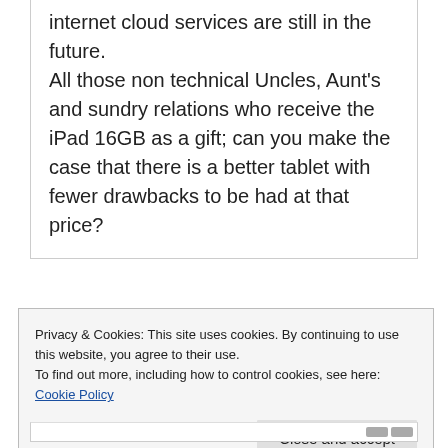internet cloud services are still in the future. All those non technical Uncles, Aunt's and sundry relations who receive the iPad 16GB as a gift; can you make the case that there is a better tablet with fewer drawbacks to be had at that price?
Privacy & Cookies: This site uses cookies. By continuing to use this website, you agree to their use. To find out more, including how to control cookies, see here: Cookie Policy
Close and accept